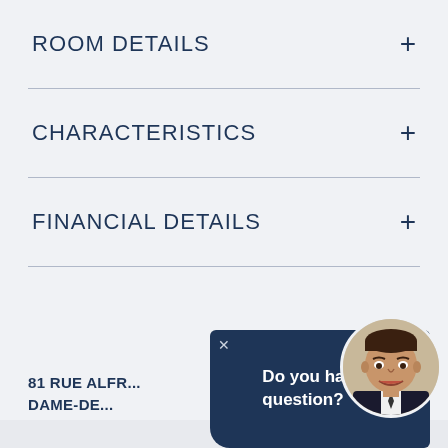ROOM DETAILS
CHARACTERISTICS
FINANCIAL DETAILS
81 RUE ALFR... DAME-DE...
Do you have a question?